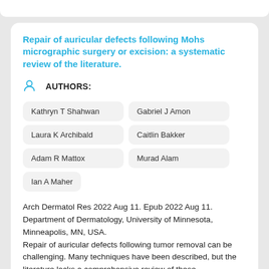Repair of auricular defects following Mohs micrographic surgery or excision: a systematic review of the literature.
AUTHORS:
Kathryn T Shahwan
Gabriel J Amon
Laura K Archibald
Caitlin Bakker
Adam R Mattox
Murad Alam
Ian A Maher
Arch Dermatol Res 2022 Aug 11. Epub 2022 Aug 11. Department of Dermatology, University of Minnesota, Minneapolis, MN, USA. Repair of auricular defects following tumor removal can be challenging. Many techniques have been described, but the literature lacks a comprehensive review of these